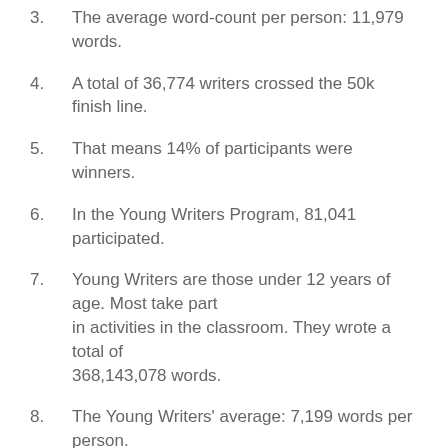3. The average word-count per person: 11,979 words.
4. A total of 36,774 writers crossed the 50k finish line.
5. That means 14% of participants were winners.
6. In the Young Writers Program, 81,041 participated.
7. Young Writers are those under 12 years of age. Most take part in activities in the classroom. They wrote a total of 368,143,078 words.
8. The Young Writers' average: 7,199 words per person.
9. The National Novel Writing Site recorded 5,384,040 visits in November. Want to visit, too? Go to http://www.nanowrimo.org/
10. Where did all these visitors come from? Well, the